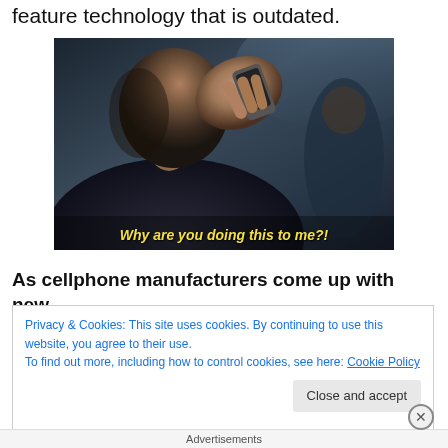feature technology that is outdated.
[Figure (screenshot): Movie still showing a man holding a cellphone to his ear, looking distressed. Yellow subtitle text reads: Why are you doing this to me?!]
As cellphone manufacturers come up with new
Privacy & Cookies: This site uses cookies. By continuing to use this website, you agree to their use.
To find out more, including how to control cookies, see here: Cookie Policy
Advertisements